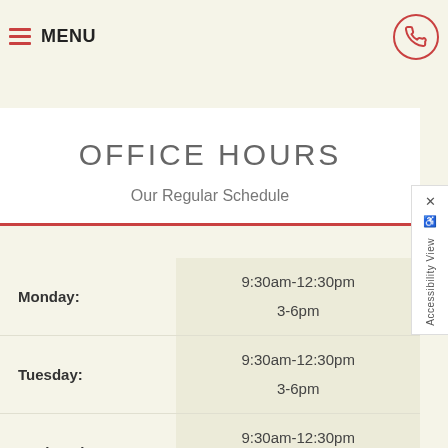MENU
customized wellness plan. The purpose of our wellness program is to achieve good spinal alignment, have a healthy exercise, and maintain a positive mental state.
OFFICE HOURS
Our Regular Schedule
| Day | Hours |
| --- | --- |
| Monday: | 9:30am-12:30pm
3-6pm |
| Tuesday: | 9:30am-12:30pm
3-6pm |
| Wednesday: | 9:30am-12:30pm
3-6pm |
| (next row) | 9:30am-12:30pm |